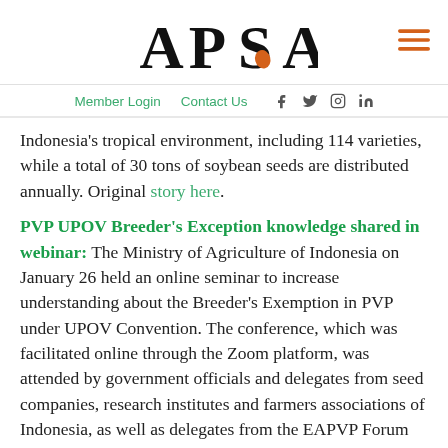APSA
Member Login  Contact Us
Indonesia's tropical environment, including 114 varieties, while a total of 30 tons of soybean seeds are distributed annually. Original story here.
PVP UPOV Breeder's Exception knowledge shared in webinar: The Ministry of Agriculture of Indonesia on January 26 held an online seminar to increase understanding about the Breeder's Exemption in PVP under UPOV Convention. The conference, which was facilitated online through the Zoom platform, was attended by government officials and delegates from seed companies, research institutes and farmers associations of Indonesia, as well as delegates from the EAPVP Forum member countries. Lecturers leading discussions were: Mr. Warsidi (Head of PVP Services, PVTPP, Indonesia; Mr. Torubisa